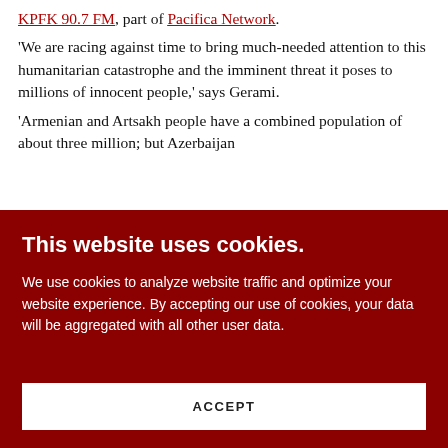KPFK 90.7 FM, part of Pacifica Network. 'We are racing against time to bring much-needed attention to this humanitarian catastrophe and the imminent threat it poses to millions of innocent people,' says Gerami. 'Armenian and Artsakh people have a combined population of about three million; but Azerbaijan
This website uses cookies.
We use cookies to analyze website traffic and optimize your website experience. By accepting our use of cookies, your data will be aggregated with all other user data.
ACCEPT